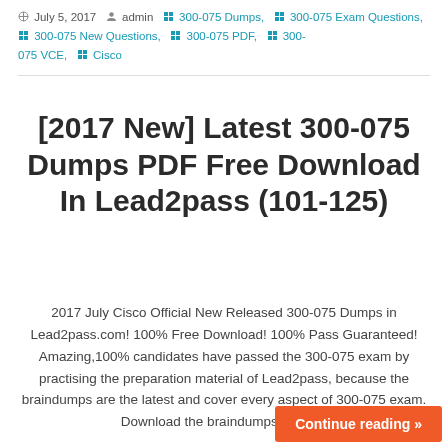July 5, 2017  admin  300-075 Dumps,  300-075 Exam Questions,  300-075 New Questions,  300-075 PDF,  300-075 VCE,  Cisco
[2017 New] Latest 300-075 Dumps PDF Free Download In Lead2pass (101-125)
2017 July Cisco Official New Released 300-075 Dumps in Lead2pass.com! 100% Free Download! 100% Pass Guaranteed! Amazing,100% candidates have passed the 300-075 exam by practising the preparation material of Lead2pass, because the braindumps are the latest and cover every aspect of 300-075 exam. Download the braindumps for an...